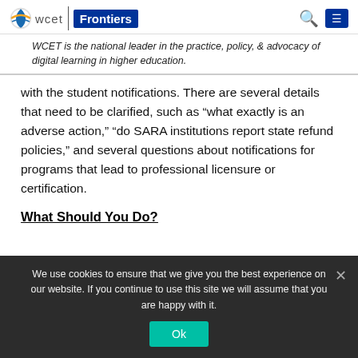[Figure (logo): WCET Frontiers logo with globe icon, 'wcet' text, vertical divider, and 'Frontiers' in white on dark blue badge]
WCET is the national leader in the practice, policy, & advocacy of digital learning in higher education.
with the student notifications. There are several details that need to be clarified, such as “what exactly is an adverse action,” “do SARA institutions report state refund policies,” and several questions about notifications for programs that lead to professional licensure or certification.
What Should You Do?
[Figure (photo): Partial photo of a person with dark hair against a light gray background]
We use cookies to ensure that we give you the best experience on our website. If you continue to use this site we will assume that you are happy with it.